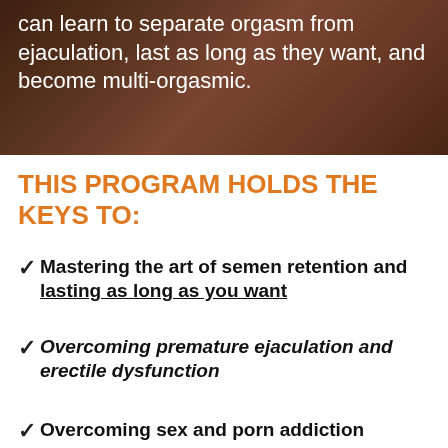[Figure (photo): Dark brown background photo with white text overlay reading 'can learn to separate orgasm from ejaculation, last as long as they want, and become multi-orgasmic.']
THIS PROGRAM HOLDS THE KEYS TO:
Mastering the art of semen retention and lasting as long as you want
Overcoming premature ejaculation and erectile dysfunction
Overcoming sex and porn addiction